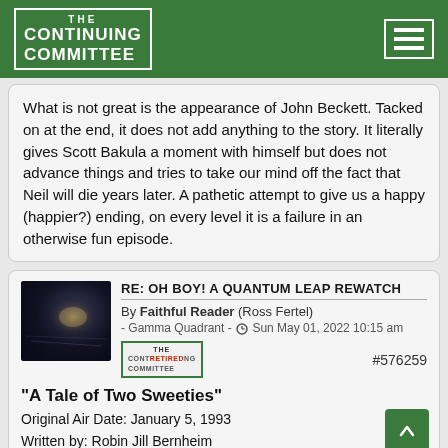THE CONTINUING COMMITTEE
What is not great is the appearance of John Beckett. Tacked on at the end, it does not add anything to the story. It literally gives Scott Bakula a moment with himself but does not advance things and tries to take our mind off the fact that Neil will die years later. A pathetic attempt to give us a happy (happier?) ending, on every level it is a failure in an otherwise fun episode.
RE: OH BOY! A QUANTUM LEAP REWATCH
By Faithful Reader (Ross Fertel) - Gamma Quadrant - Sun May 01, 2022 10:15 am
[Figure (photo): Dark sci-fi thumbnail image]
RETIRED badge
#576259
"A Tale of Two Sweeties"
Original Air Date: January 5, 1993
Written by: Robin Jill Bernheim